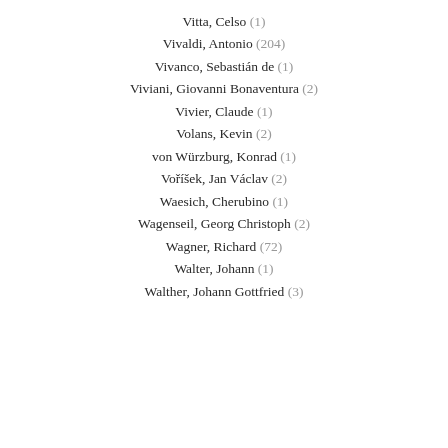Vitta, Celso (1)
Vivaldi, Antonio (204)
Vivanco, Sebastián de (1)
Viviani, Giovanni Bonaventura (2)
Vivier, Claude (1)
Volans, Kevin (2)
von Würzburg, Konrad (1)
Voříšek, Jan Václav (2)
Waesich, Cherubino (1)
Wagenseil, Georg Christoph (2)
Wagner, Richard (72)
Walter, Johann (1)
Walther, Johann Gottfried (3)